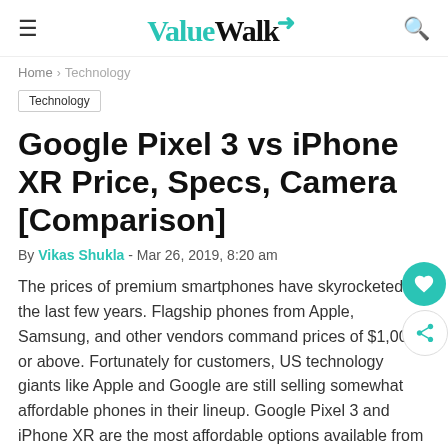ValueWalk
Home › Technology
Technology
Google Pixel 3 vs iPhone XR Price, Specs, Camera [Comparison]
By Vikas Shukla - Mar 26, 2019, 8:20 am
The prices of premium smartphones have skyrocketed in the last few years. Flagship phones from Apple, Samsung, and other vendors command prices of $1,000 or above. Fortunately for customers, US technology giants like Apple and Google are still selling somewhat affordable phones in their lineup. Google Pixel 3 and iPhone XR are the most affordable options available from Google and Apple, respectively. At